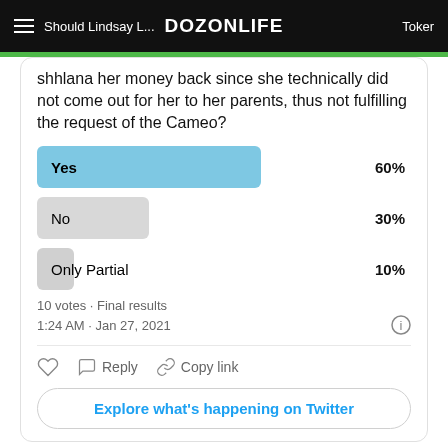DOZONLIFE | Should Lindsay L...Toker
shhlana her money back since she technically did not come out for her to her parents, thus not fulfilling the request of the Cameo?
[Figure (bar-chart): Poll results]
10 votes · Final results
1:24 AM · Jan 27, 2021
Explore what's happening on Twitter
P.S.